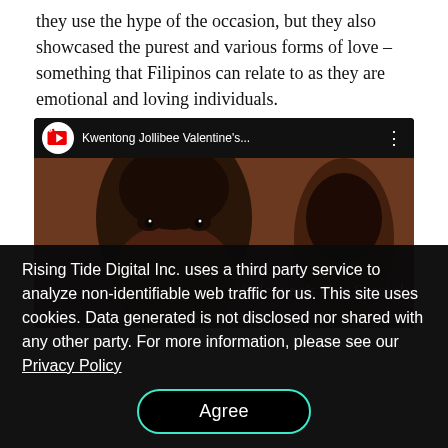they use the hype of the occasion, but they also showcased the purest and various forms of love – something that Filipinos can relate to as they are emotional and loving individuals.
[Figure (screenshot): YouTube video thumbnail showing 'Kwentong Jollibee Valentine's...' with a close-up of a young man's face and 'Valentine's Day Special' text overlay in cursive]
Rising Tide Digital Inc. uses a third party service to analyze non-identifiable web traffic for us. This site uses cookies. Data generated is not disclosed nor shared with any other party. For more information, please see our Privacy Policy
Agree